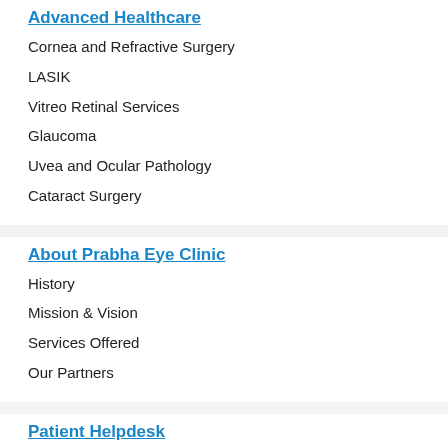Advanced Healthcare
Cornea and Refractive Surgery
LASIK
Vitreo Retinal Services
Glaucoma
Uvea and Ocular Pathology
Cataract Surgery
About Prabha Eye Clinic
History
Mission & Vision
Services Offered
Our Partners
Patient Helpdesk
Book an Appointment